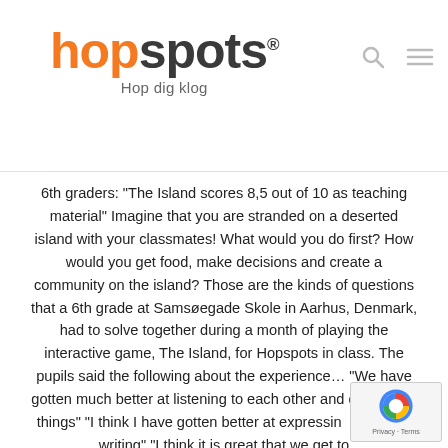hopspots® Hop dig klog
6th graders: "The Island scores 8,5 out of 10 as teaching material" Imagine that you are stranded on a deserted island with your classmates! What would you do first? How would you get food, make decisions and create a community on the island? Those are the kinds of questions that a 6th grade at Samsøegade Skole in Aarhus, Denmark, had to solve together during a month of playing the interactive game, The Island, for Hopspots in class. The pupils said the following about the experience... "We have gotten much better at listening to each other and discussing things" "I think I have gotten better at expressing myself in writing" "I think it is great that we get to